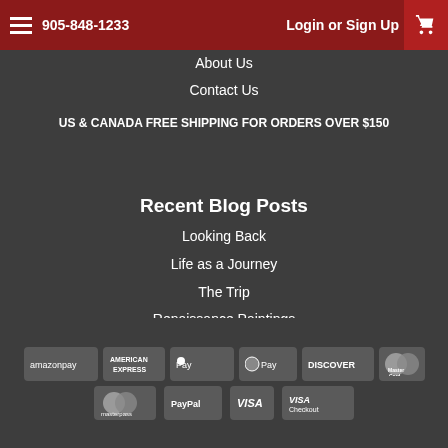905-848-1233  Login or Sign Up
About Us
Contact Us
US & CANADA FREE SHIPPING FOR ORDERS OVER $150
Recent Blog Posts
Looking Back
Life as a Journey
The Trip
Renaissance Paintings
[Figure (logo): Payment method logos: Amazon Pay, American Express, Apple Pay, Google Pay, Discover, MasterCard, Masterpass, PayPal, Visa, Visa Checkout]